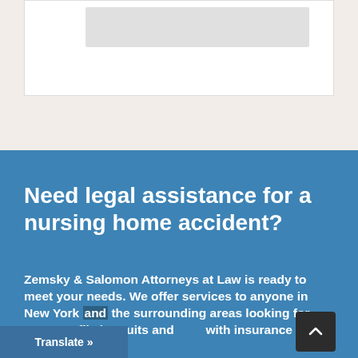[Figure (other): White card with gray placeholder image bar at the top of the page on a beige/off-white background]
Need legal assistance for a nursing home accident?
Zemsky & Salomon Attorneys at Law is ready to meet your needs. We offer services to anyone in New York and the surrounding areas looking for [help] to file lawsuits and [deal] with insurance companies